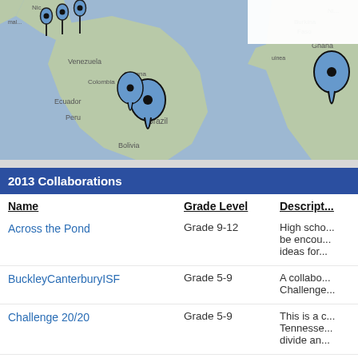[Figure (map): World map with blue location pin markers indicating collaboration locations, primarily over South America and Africa/West Africa regions.]
2013 Collaborations
| Name | Grade Level | Description |
| --- | --- | --- |
| Across the Pond | Grade 9-12 | High scho... be encou... ideas for... |
| BuckleyCanterburyISF | Grade 5-9 | A collabo... Challenge... |
| Challenge 20/20 | Grade 5-9 | This is a c... Tennesse... divide an... |
| Challenge 20/20 | Grade 5-9 | NAIS Chal... Watkonso... |
| Challenge 20/20 Education | Grade 5-9 | A collabo... |